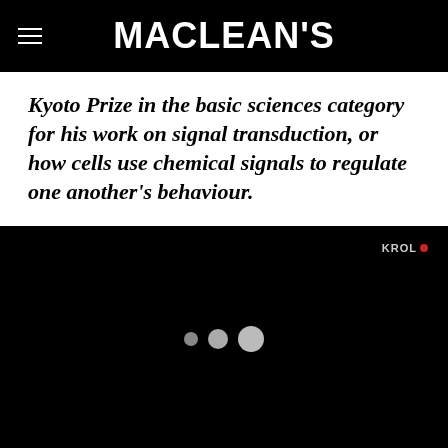MACLEAN'S
Kyoto Prize in the basic sciences category for his work on signal transduction, or how cells use chemical signals to regulate one another's behaviour.
[Figure (screenshot): Dark video player with loading dots and a brand watermark in the upper right corner]
We use cookies (why?) You can change cookie preferences. Continued site use